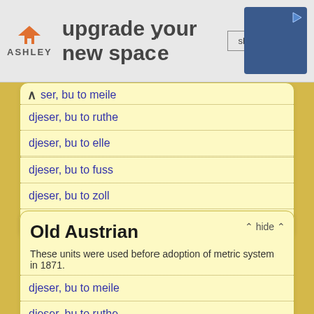[Figure (other): Ashley Furniture advertisement banner: orange house logo, 'upgrade your new space' text, 'shop now' button, sofa image]
ser, bu to meile
djeser, bu to ruthe
djeser, bu to elle
djeser, bu to fuss
djeser, bu to zoll
djeser, bu to linie
Old Austrian
These units were used before adoption of metric system in 1871.
djeser, bu to meile
djeser, bu to ruthe
djeser, bu to klafner
djeser, bu to fuss
djeser, bu to zoll
djeser, bu to linie